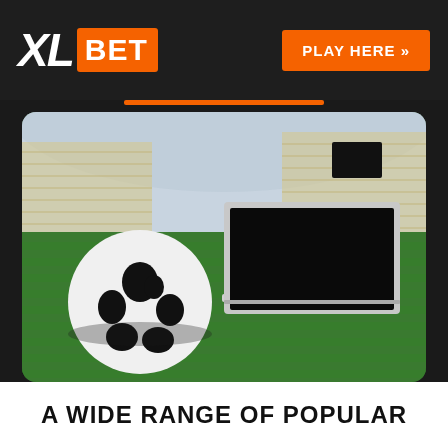[Figure (logo): XL BET logo with orange BET box on dark background header, with PLAY HERE orange button on the right]
[Figure (photo): Soccer ball and laptop on green grass field inside a large stadium with blurred crowd in background]
A WIDE RANGE OF POPULAR